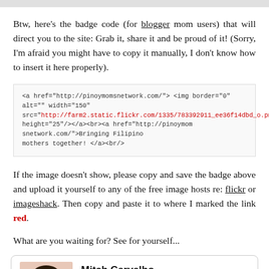Btw, here's the badge code (for blogger mom users) that will direct you to the site: Grab it, share it and be proud of it! (Sorry, I'm afraid you might have to copy it manually, I don't know how to insert it here properly).
[Figure (screenshot): Code snippet box showing HTML badge code with a red URL link to flickr]
If the image doesn't show, please copy and save the badge above and upload it yourself to any of the free image hosts re: flickr or imageshack. Then copy and paste it to where I marked the link red.
What are you waiting for? See for yourself...
[Figure (infographic): Profile card showing Mitch Carvalho with a photo and text 'Hi, Mitch here, a full-time home-']